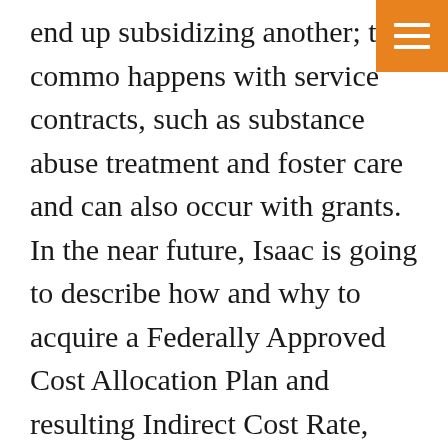end up subsidizing another; this commonly happens with service contracts, such as substance abuse treatment and foster care and can also occur with grants. In the near future, Isaac is going to describe how and why to acquire a Federally Approved Cost Allocation Plan and resulting Indirect Cost Rate, which is a great way to secure general purpose administrative funds to support multi-program operations. By pursuing grants related to your nominal field of expertise, you can in effect diversify and avoid major problems if there's a decline in